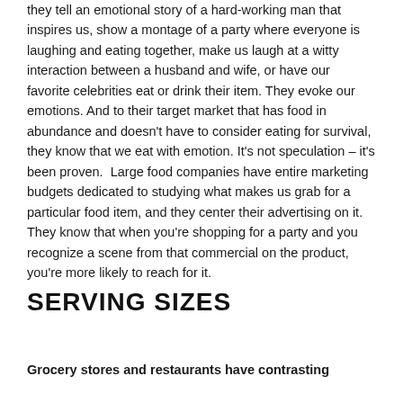they tell an emotional story of a hard-working man that inspires us, show a montage of a party where everyone is laughing and eating together, make us laugh at a witty interaction between a husband and wife, or have our favorite celebrities eat or drink their item. They evoke our emotions. And to their target market that has food in abundance and doesn't have to consider eating for survival, they know that we eat with emotion. It's not speculation – it's been proven.  Large food companies have entire marketing budgets dedicated to studying what makes us grab for a particular food item, and they center their advertising on it. They know that when you're shopping for a party and you recognize a scene from that commercial on the product, you're more likely to reach for it.
SERVING SIZES
Grocery stores and restaurants have contrasting